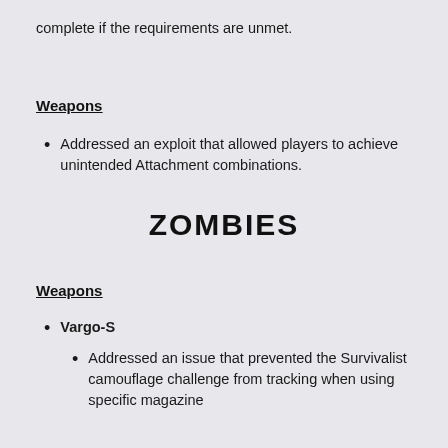complete if the requirements are unmet.
Weapons
Addressed an exploit that allowed players to achieve unintended Attachment combinations.
ZOMBIES
Weapons
Vargo-S
Addressed an issue that prevented the Survivalist camouflage challenge from tracking when using specific magazine